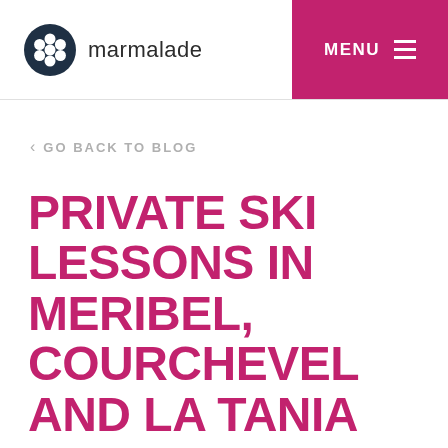marmalade  MENU
< GO BACK TO BLOG
PRIVATE SKI LESSONS IN MERIBEL, COURCHEVEL AND LA TANIA